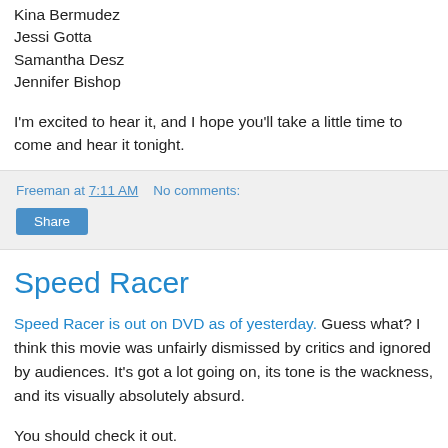Kina Bermudez
Jessi Gotta
Samantha Desz
Jennifer Bishop
I'm excited to hear it, and I hope you'll take a little time to come and hear it tonight.
Freeman at 7:11 AM   No comments:
Share
Speed Racer
Speed Racer is out on DVD as of yesterday. Guess what? I think this movie was unfairly dismissed by critics and ignored by audiences. It's got a lot going on, its tone is the wackness, and its visually absolutely absurd.
You should check it out.